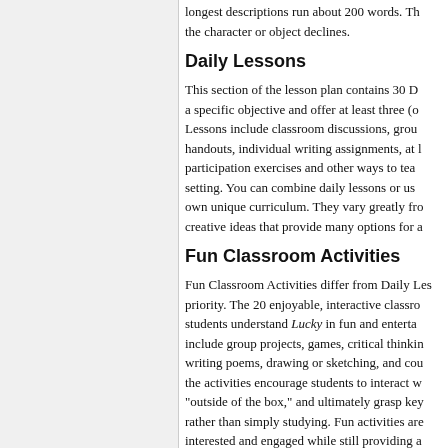longest descriptions run about 200 words. The character or object declines.
Daily Lessons
This section of the lesson plan contains 30 D a specific objective and offer at least three (o Lessons include classroom discussions, grou handouts, individual writing assignments, at l participation exercises and other ways to tea setting. You can combine daily lessons or us own unique curriculum. They vary greatly fro creative ideas that provide many options for a
Fun Classroom Activities
Fun Classroom Activities differ from Daily Les priority. The 20 enjoyable, interactive classro students understand Lucky in fun and enterta include group projects, games, critical thinkin writing poems, drawing or sketching, and cou the activities encourage students to interact w "outside of the box," and ultimately grasp key rather than simply studying. Fun activities are interested and engaged while still providing a themes.
Essay Questions/Writing Assignme
Those 30 Essay Questions/Writing Assignme